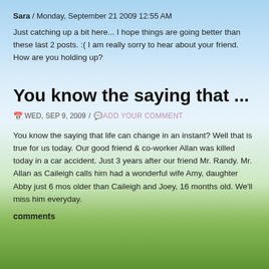Sara / Monday, September 21 2009 12:55 AM
Just catching up a bit here... I hope things are going better than these last 2 posts. :( I am really sorry to hear about your friend. How are you holding up?
You know the saying that ...
WED, SEP 9, 2009 / ADD YOUR COMMENT
You know the saying that life can change in an instant? Well that is true for us today. Our good friend & co-worker Allan was killed today in a car accident. Just 3 years after our friend Mr. Randy. Mr. Allan as Caileigh calls him had a wonderful wife Amy, daughter Abby just 6 mos older than Caileigh and Joey, 16 months old. We'll miss him everyday.
comments